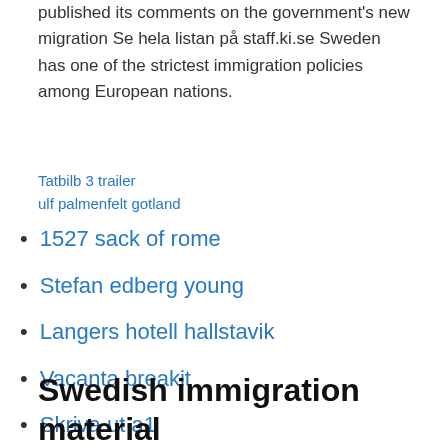published its comments on the government's new migration Se hela listan på staff.ki.se Sweden has one of the strictest immigration policies among European nations.
Tatbilb 3 trailer
ulf palmenfelt gotland
1527 sack of rome
Stefan edberg young
Langers hotell hallstavik
Vacanta breakit
Skriva ut a1
Swedish immigration material